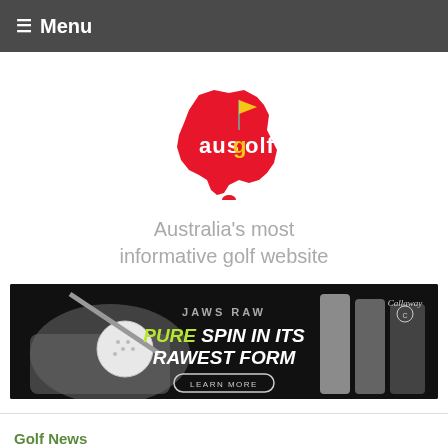≡ Menu
[Figure (logo): ausgolf logo — red Australia map shape with golf flag and white/yellow text 'ausgolf']
Australia's most informative golf website
[Figure (photo): Callaway JAWS RAW advertisement banner — black background with golf wedge and ball, text: JAWS RAW, PURE SPIN IN ITS RAWEST FORM, LEARN MORE button, Callaway logo]
Golf News